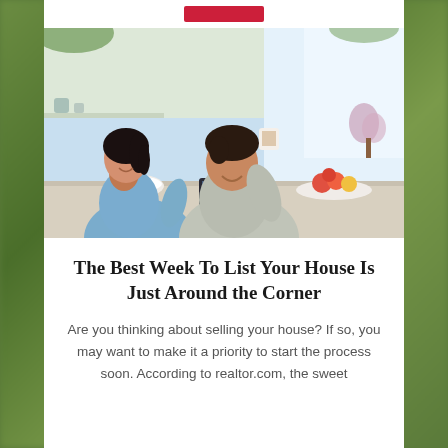[Figure (photo): A smiling Asian couple sitting at a kitchen counter looking at a tablet together. The man is holding a coffee cup. There are fruits and a bowl on the counter in a bright modern kitchen.]
The Best Week To List Your House Is Just Around the Corner
Are you thinking about selling your house? If so, you may want to make it a priority to start the process soon. According to realtor.com, the sweet